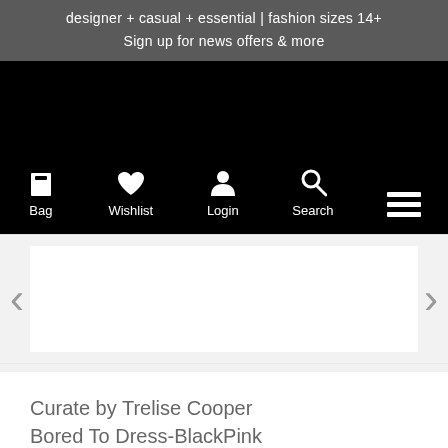designer + casual + essential | fashion sizes 14+
Sign up for news offers & more
[Figure (screenshot): Black navigation bar with icons: Bag (shopping bag icon), Wishlist (heart icon), Login (person icon), Search (magnifying glass icon), and hamburger menu icon]
[Figure (screenshot): Image slider/carousel area with left arrow (<) and right arrow (>) navigation, white content area in the middle]
Curate by Trelise Cooper
Bored To Dress-BlackPink